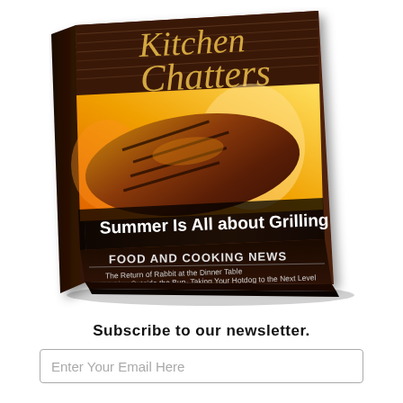[Figure (illustration): A 3D rendered book cover of 'Kitchen Chatters' magazine with a grilled steak on the cover, titled 'Summer Is All about Grilling', with subtitle sections 'FOOD AND COOKING NEWS' and bullet items: 'The Return of Rabbit at the Dinner Table', 'Thinking Outside the Bun- Taking Your Hotdog to the Next Level', 'Choosing the Right Grill – Propane vs. Natural Gas']
Subscribe to our newsletter.
Enter Your Email Here